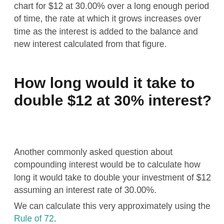chart for $12 at 30.00% over a long enough period of time, the rate at which it grows increases over time as the interest is added to the balance and new interest calculated from that figure.
How long would it take to double $12 at 30% interest?
Another commonly asked question about compounding interest would be to calculate how long it would take to double your investment of $12 assuming an interest rate of 30.00%.
We can calculate this very approximately using the Rule of 72.